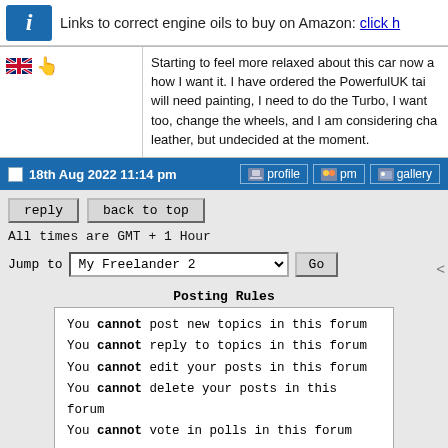Links to correct engine oils to buy on Amazon: click h
Starting to feel more relaxed about this car now a how I want it. I have ordered the PowerfulUK tai will need painting, I need to do the Turbo, I want too, change the wheels, and I am considering cha leather, but undecided at the moment.
18th Aug 2022 11:14 pm
reply
back to top
All times are GMT + 1 Hour
Jump to  My Freelander 2   Go
Posting Rules
You cannot post new topics in this forum
You cannot reply to topics in this forum
You cannot edit your posts in this forum
You cannot delete your posts in this forum
You cannot vote in polls in this forum
Site Copyright © 2006-2022 Futuranet Ltd & Martin Lewis